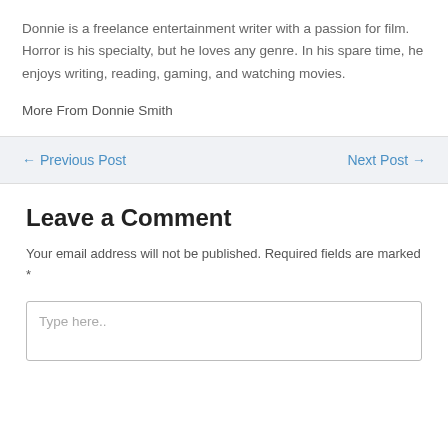Donnie is a freelance entertainment writer with a passion for film. Horror is his specialty, but he loves any genre. In his spare time, he enjoys writing, reading, gaming, and watching movies.
More From Donnie Smith
← Previous Post
Next Post →
Leave a Comment
Your email address will not be published. Required fields are marked *
Type here..